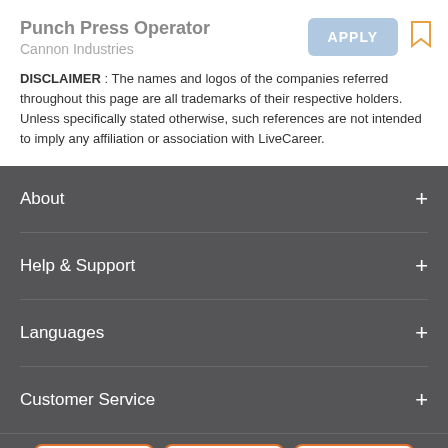Punch Press Operator
Cannon Industries
DISCLAIMER : The names and logos of the companies referred throughout this page are all trademarks of their respective holders. Unless specifically stated otherwise, such references are not intended to imply any affiliation or association with LiveCareer.
About
Help & Support
Languages
Customer Service
Resume Examples
Resume Templates
Resume Builder